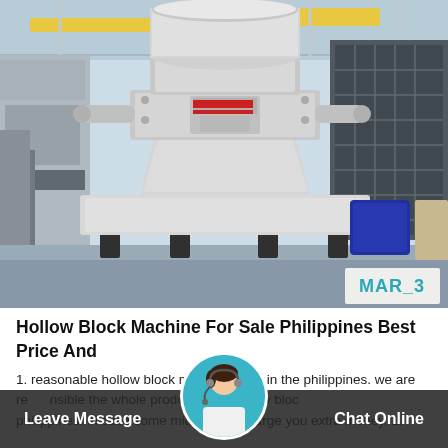[Figure (photo): Large industrial vertical shaft impact crusher / hollow block machine in a factory setting. The machine is white with a red stripe, cylindrical top section, mounted on a wide base with legs. Factory interior with steel structure visible in background. Date badge 'MAR_3' in bottom right corner of photo.]
Hollow Block Machine For Sale Philippines Best Price And
1. reasonable hollow block machine price in the philippines. we are responsible the whole production of hollow block maker for sale philippines. in case some middleman charge you extra money, 2.
Leave Message   Chat Online